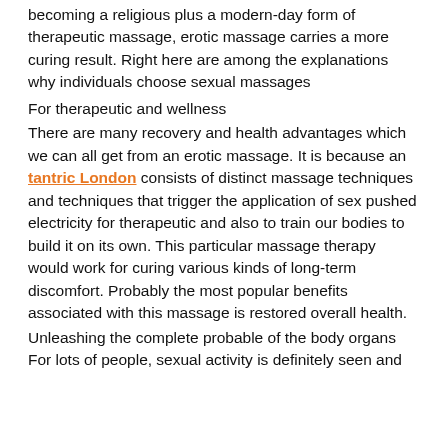becoming a religious plus a modern-day form of therapeutic massage, erotic massage carries a more curing result. Right here are among the explanations why individuals choose sexual massages
For therapeutic and wellness
There are many recovery and health advantages which we can all get from an erotic massage. It is because an tantric London consists of distinct massage techniques and techniques that trigger the application of sex pushed electricity for therapeutic and also to train our bodies to build it on its own. This particular massage therapy would work for curing various kinds of long-term discomfort. Probably the most popular benefits associated with this massage is restored overall health.
Unleashing the complete probable of the body organs
For lots of people, sexual activity is definitely seen and